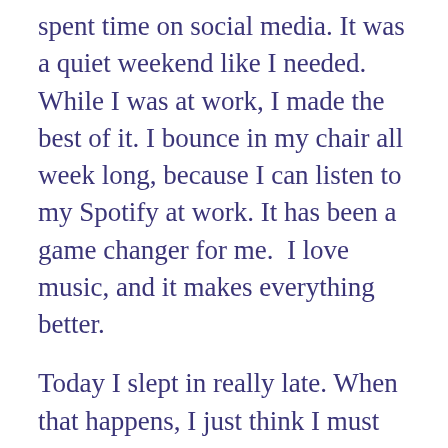spent time on social media. It was a quiet weekend like I needed. While I was at work, I made the best of it. I bounce in my chair all week long, because I can listen to my Spotify at work. It has been a game changer for me.  I love music, and it makes everything better.
Today I slept in really late. When that happens, I just think I must have needed the sleep. After the week I just had, I can't feel guilty about needing extra sleep. I just relaxed all day and finished by watching the Junos.
Self-care is not selfish. People need to learn to stop for just a minute and take a break. I have been pushing myself to do more. I am up for